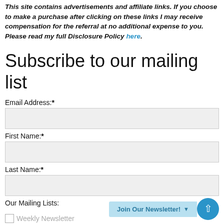This site contains advertisements and affiliate links. If you choose to make a purchase after clicking on these links I may receive compensation for the referral at no additional expense to you. Please read my full Disclosure Policy here.
Subscribe to our mailing list
Email Address:*
First Name:*
Last Name:*
Our Mailing Lists:
Weekly Newsletter
Join Our Newsletter!